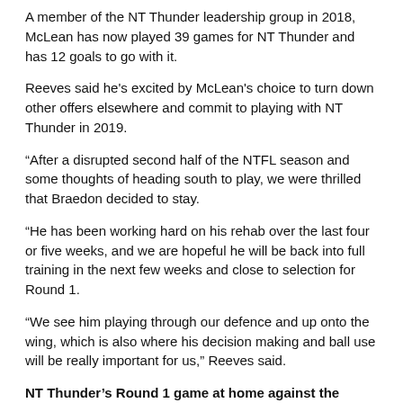A member of the NT Thunder leadership group in 2018, McLean has now played 39 games for NT Thunder and has 12 goals to go with it.
Reeves said he's excited by McLean's choice to turn down other offers elsewhere and commit to playing with NT Thunder in 2019.
“After a disrupted second half of the NTFL season and some thoughts of heading south to play, we were thrilled that Braedon decided to stay.
“He has been working hard on his rehab over the last four or five weeks, and we are hopeful he will be back into full training in the next few weeks and close to selection for Round 1.
“We see him playing through our defence and up onto the wing, which is also where his decision making and ball use will be really important for us,” Reeves said.
NT Thunder’s Round 1 game at home against the Brisbane Lions is less than two weeks away!
The Tambling and McLean kids will be signed up as Cracka Club members, so if you’re thinking of supporting the team then we’d love to have you! Cracka Club is FREE for anyone under 12. Head to:
https://www.ntthunder.com.au/membership/ to learn more.